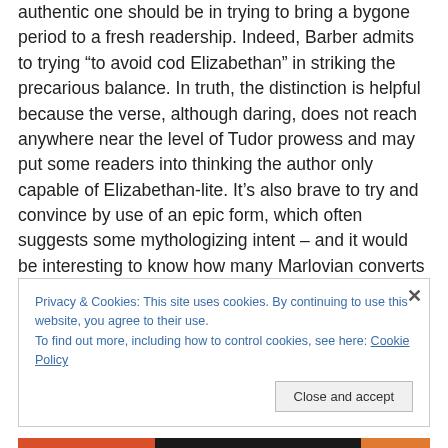authentic one should be in trying to bring a bygone period to a fresh readership. Indeed, Barber admits to trying “to avoid cod Elizabethan” in striking the precarious balance. In truth, the distinction is helpful because the verse, although daring, does not reach anywhere near the level of Tudor prowess and may put some readers into thinking the author only capable of Elizabethan-lite. It’s also brave to try and convince by use of an epic form, which often suggests some mythologizing intent – and it would be interesting to know how many Marlovian converts come of this bold effort.
Privacy & Cookies: This site uses cookies. By continuing to use this website, you agree to their use. To find out more, including how to control cookies, see here: Cookie Policy